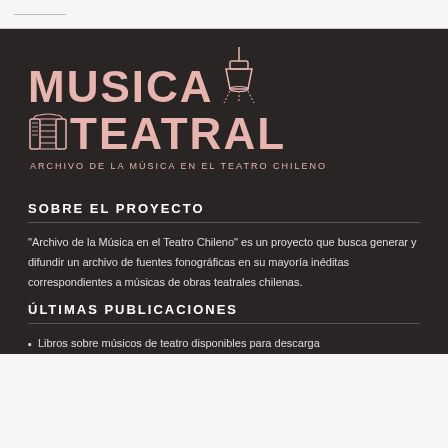[Figure (logo): Musica Teatral logo with pink text on dark background, featuring accordion and spotlight illustrations. Tagline: ARCHIVO DE LA MÚSICA EN EL TEATRO CHILENO]
SOBRE EL PROYECTO
"Archivo de la Música en el Teatro Chileno" es un proyecto que busca generar y difundir un archivo de fuentes fonográficas en su mayoría inéditas correspondientes a músicas de obras teatrales chilenas.
ÚLTIMAS PUBLICACIONES
Libros sobre músicos de teatro disponibles para descarga